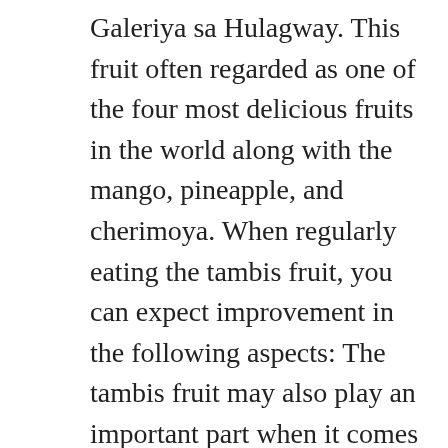Galeriya sa Hulagway. This fruit often regarded as one of the four most delicious fruits in the world along with the mango, pineapple, and cherimoya. When regularly eating the tambis fruit, you can expect improvement in the following aspects: The tambis fruit may also play an important part when it comes to inflammation in the joints, epileptic seizures, smallpox, strained or sore eyes. Tambis or macopa. Macopa fruit is a fruit that comes from southeast Asia. Macopa fruit has a sweet and sour taste that refreshes us, and as the name implies, this fruit has abundant water content. Macopa,while basically of the same shape as tambis, has a deeper crimson skin, denser flesh, and more tart taste. What is the conflict of the story sinigang by marby villaceran? In other words, rose apples are known to be a great aid in: Let’s go a bit more in depth regarding the tambis fruit’s health benefits. Tambis